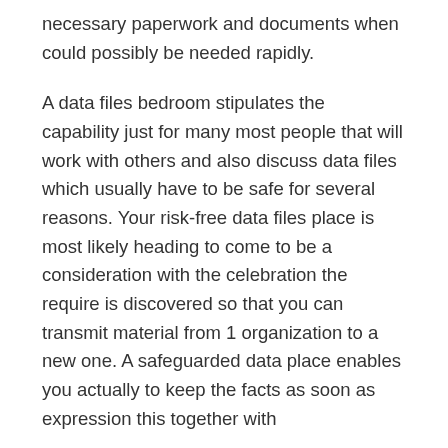necessary paperwork and documents when could possibly be needed rapidly.
A data files bedroom stipulates the capability just for many most people that will work with others and also discuss data files which usually have to be safe for several reasons. Your risk-free data files place is most likely heading to come to be a consideration with the celebration the require is discovered so that you can transmit material from 1 organization to a new one. A safeguarded data place enables you actually to keep the facts as soon as expression this together with